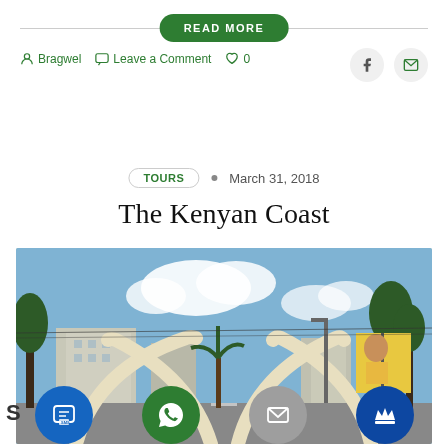READ MORE
Bragwel   Leave a Comment   0
TOURS  •  March 31, 2018
The Kenyan Coast
[Figure (photo): Street photo of the famous Mombasa Tusks landmark — two pairs of large ivory-coloured crossed tusk arches spanning over a road, with urban buildings, trees, and a billboard visible in the background, and a blue sky with clouds above.]